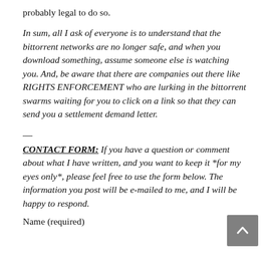probably legal to do so.
In sum, all I ask of everyone is to understand that the bittorrent networks are no longer safe, and when you download something, assume someone else is watching you. And, be aware that there are companies out there like RIGHTS ENFORCEMENT who are lurking in the bittorrent swarms waiting for you to click on a link so that they can send you a settlement demand letter.
—
CONTACT FORM: If you have a question or comment about what I have written, and you want to keep it *for my eyes only*, please feel free to use the form below. The information you post will be e-mailed to me, and I will be happy to respond.
Name (required)